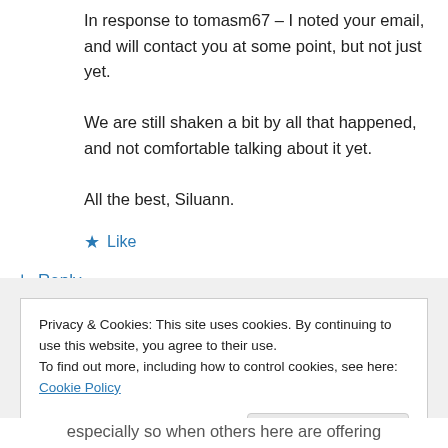In response to tomasm67 – I noted your email, and will contact you at some point, but not just yet.
We are still shaken a bit by all that happened, and not comfortable talking about it yet.
All the best, Siluann.
★ Like
↳ Reply
Privacy & Cookies: This site uses cookies. By continuing to use this website, you agree to their use.
To find out more, including how to control cookies, see here: Cookie Policy
Close and accept
especially so when others here are offering